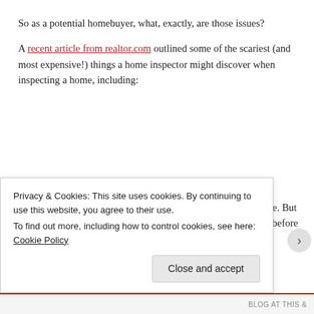So as a potential homebuyer, what, exactly, are those issues?
A recent article from realtor.com outlined some of the scariest (and most expensive!) things a home inspector might discover when inspecting a home, including:
An old deck. A deck can be a major selling point of a home. But decks also have a relatively short lifespan (12 to 15 years) before they start to corrode—which can lead to a collapse. If your inspector finds that the deck of the home needs to
Privacy & Cookies: This site uses cookies. By continuing to use this website, you agree to their use.
To find out more, including how to control cookies, see here: Cookie Policy